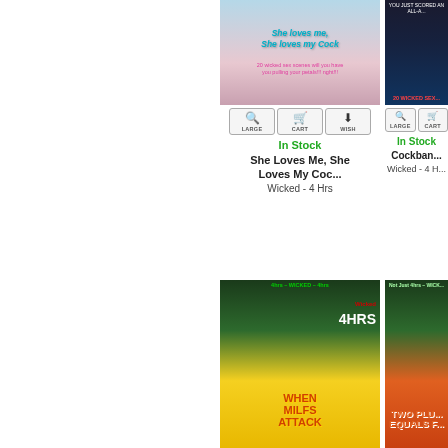[Figure (photo): DVD cover for 'She Loves Me, She Loves My Cock' - Wicked 4 Hrs]
In Stock
She Loves Me, She Loves My Coc...
Wicked - 4 Hrs
[Figure (photo): DVD cover for 'Cockban...' - Wicked 4 H...]
In Stock
Cockban...
Wicked - 4 H...
[Figure (photo): DVD cover for 'When MILFs Attack' - Wicked 4 Hrs]
[Figure (photo): DVD cover for 'Two Plus... Equals F...' - Wicked]